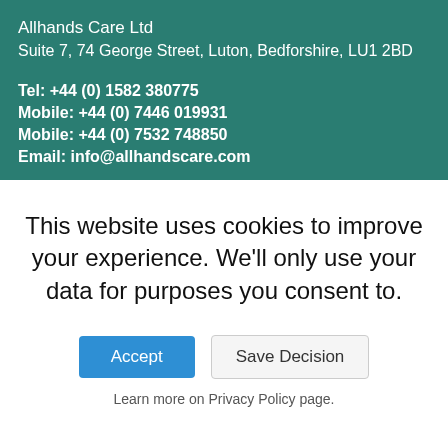Allhands Care Ltd
Suite 7, 74 George Street, Luton, Bedforshire, LU1 2BD
Tel: +44 (0) 1582 380775
Mobile: +44 (0) 7446 019931
Mobile: +44 (0) 7532 748850
Email: info@allhandscare.com
This website uses cookies to improve your experience. We'll only use your data for purposes you consent to.
Accept
Save Decision
Learn more on Privacy Policy page.